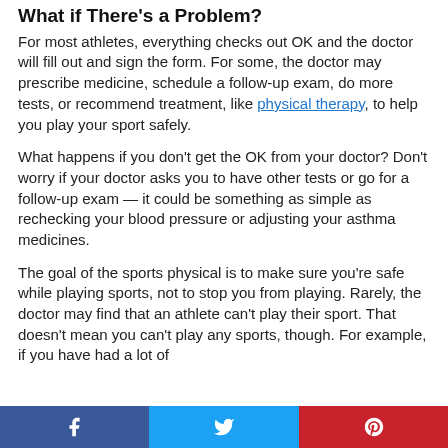What if There's a Problem?
For most athletes, everything checks out OK and the doctor will fill out and sign the form. For some, the doctor may prescribe medicine, schedule a follow-up exam, do more tests, or recommend treatment, like physical therapy, to help you play your sport safely.
What happens if you don't get the OK from your doctor? Don't worry if your doctor asks you to have other tests or go for a follow-up exam — it could be something as simple as rechecking your blood pressure or adjusting your asthma medicines.
The goal of the sports physical is to make sure you're safe while playing sports, not to stop you from playing. Rarely, the doctor may find that an athlete can't play their sport. That doesn't mean you can't play any sports, though. For example, if you have had a lot of
Facebook Twitter Pinterest